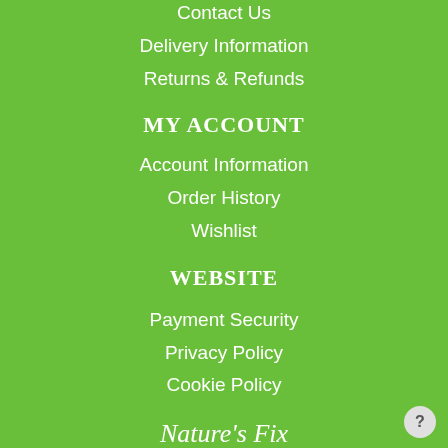Contact Us
Delivery Information
Returns & Refunds
MY ACCOUNT
Account Information
Order History
Wishlist
WEBSITE
Payment Security
Privacy Policy
Cookie Policy
Nature's Fix
Boreham, Essex, UK